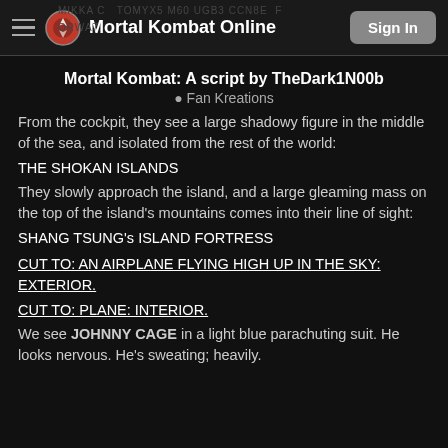Mortal Kombat Online  Sign In
Mortal Kombat: A script by TheDark1N00b
◎ Fan Kreations
From the cockpit, they see a large shadowy figure in the middle of the sea, and isolated from the rest of the world:
THE SHOKAN ISLANDS
They slowly approach the island, and a large gleaming mass on the top of the island's mountains comes into their line of sight:
SHANG TSUNG's ISLAND FORTRESS
CUT TO: AN AIRPLANE FLYING HIGH UP IN THE SKY: EXTERIOR.
CUT TO: PLANE: INTERIOR.
We see JOHNNY CAGE in a light blue parachuting suit. He looks nervous. He's sweating; heavily.